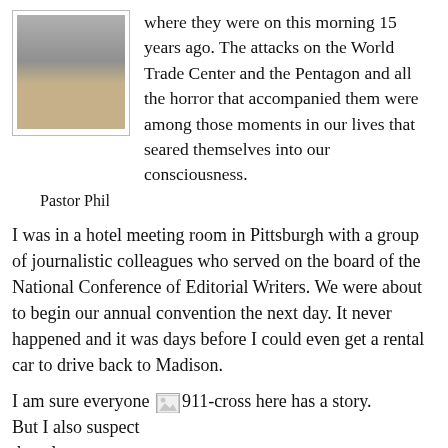[Figure (photo): Headshot of an older man with glasses and a beard, smiling, wearing a light purple shirt]
Pastor Phil
where they were on this morning 15 years ago. The attacks on the World Trade Center and the Pentagon and all the horror that accompanied them were among those moments in our lives that seared themselves into our consciousness.
I was in a hotel meeting room in Pittsburgh with a group of journalistic colleagues who served on the board of the National Conference of Editorial Writers. We were about to begin our annual convention the next day. It never happened and it was days before I could even get a rental car to drive back to Madison.
I am sure everyone here has a story. But I also suspect that almost
[Figure (photo): Small broken/placeholder image labeled 911-cross]